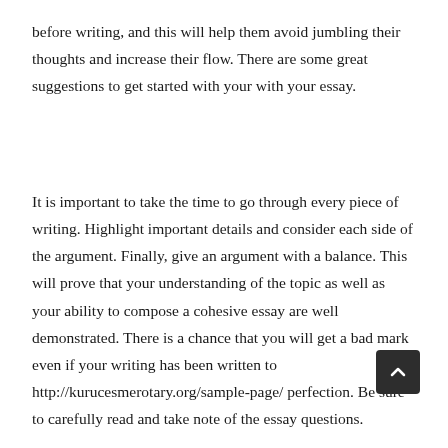before writing, and this will help them avoid jumbling their thoughts and increase their flow. There are some great suggestions to get started with your with your essay.
It is important to take the time to go through every piece of writing. Highlight important details and consider each side of the argument. Finally, give an argument with a balance. This will prove that your understanding of the topic as well as your ability to compose a cohesive essay are well demonstrated. There is a chance that you will get a bad mark even if your writing has been written to http://kurucesmerotary.org/sample-page/ perfection. Be sure to carefully read and take note of the essay questions.